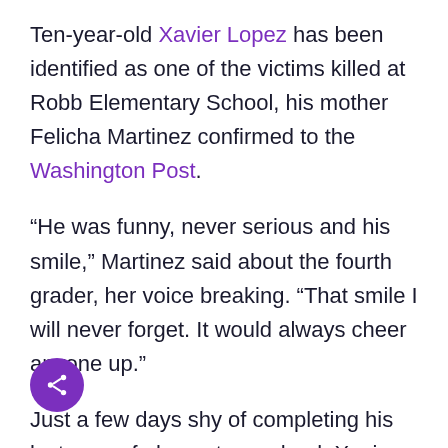Ten-year-old Xavier Lopez has been identified as one of the victims killed at Robb Elementary School, his mother Felicha Martinez confirmed to the Washington Post.
“He was funny, never serious and his smile,” Martinez said about the fourth grader, her voice breaking. “That smile I will never forget. It would always cheer anyone up.”
Just a few days shy of completing his last year of elementary school, Xavier was counting the days until he would officially move up the academic ladder into Flores Middle School in